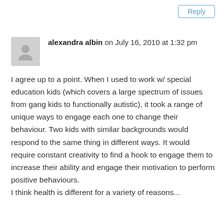Reply
alexandra albin on July 16, 2010 at 1:32 pm
I agree up to a point. When I used to work w/ special education kids (which covers a large spectrum of issues from gang kids to functionally autistic), it took a range of unique ways to engage each one to change their behaviour. Two kids with similar backgrounds would respond to the same thing in different ways. It would require constant creativity to find a hook to engage them to increase their ability and engage their motivation to perform positive behaviours.
I think health is different for a variety of reasons...